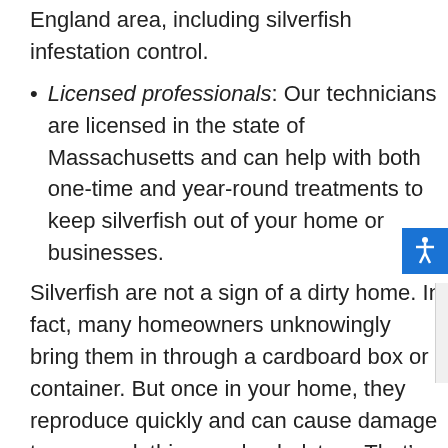England area, including silverfish infestation control.
Licensed professionals: Our technicians are licensed in the state of Massachusetts and can help with both one-time and year-round treatments to keep silverfish out of your home or businesses.
Silverfish are not a sign of a dirty home. In fact, many homeowners unknowingly bring them in through a cardboard box or container. But once in your home, they reproduce quickly and can cause damage to paper, clothing, and upholstery. That’s why you shouldn’t delay, call the Auburndale, Massachusetts silverfish control